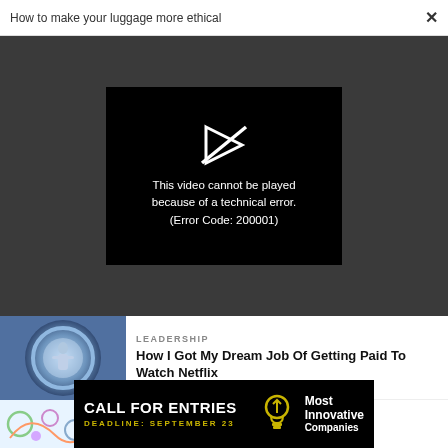How to make your luggage more ethical
[Figure (screenshot): Video player showing error: This video cannot be played because of a technical error. (Error Code: 200001) with a broken play button icon on dark background]
LEADERSHIP
How I Got My Dream Job Of Getting Paid To Watch Netflix
LEADERSHIP
[Figure (photo): Colorful cartoon/animated illustration]
CALL FOR ENTRIES DEADLINE: SEPTEMBER 23 Most Innovative Companies